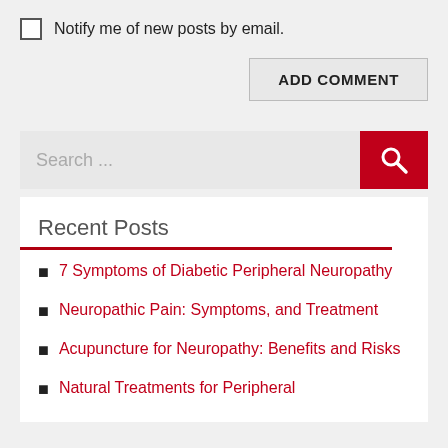Notify me of new posts by email.
ADD COMMENT
Search ...
Recent Posts
7 Symptoms of Diabetic Peripheral Neuropathy
Neuropathic Pain: Symptoms, and Treatment
Acupuncture for Neuropathy: Benefits and Risks
Natural Treatments for Peripheral